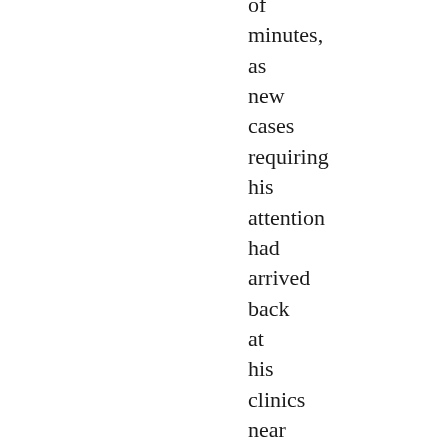of minutes, as new cases requiring his attention had arrived back at his clinics near the hospital. That urgency increased the KM/hr of